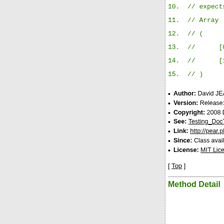10.  // expects:
11.  // Array
12.  // (
13.  //       [0] => [...]
14.  //       [1] => [...]
15.  // )
Author: David JEAN LOUIS <i
Version: Release: @package_
Copyright: 2008 David JEAN L
See: Testing_DocTest_FinderIn
Link: http://pear.php.net/packa
Since: Class available since re
License: MIT License
[ Top ]
Method Detail